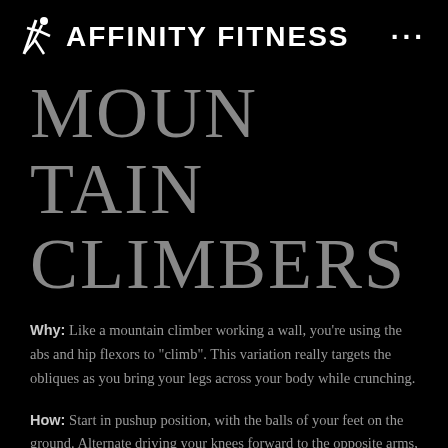AFFINITY FITNESS
MOUNTAIN CLIMBERS
Why: Like a mountain climber working a wall, you're using the abs and hip flexors to "climb". This variation really targets the obliques as you bring your legs across your body while crunching.
How: Start in pushup position, with the balls of your feet on the ground. Alternate driving your knees forward to the opposite arms, twisting your body to that side, for 30 seconds. Keep your hips